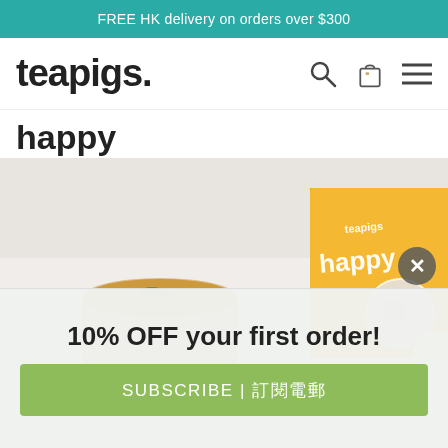FREE HK delivery on orders over $300
teapigs.
happy
[Figure (photo): A cup of tea with a teapigs 'happy' tea box (yellow packaging) next to it on a light surface. The box has a circular window showing tea bags inside.]
10% OFF your first order!
SUBSCRIBE | 訂閱電郵